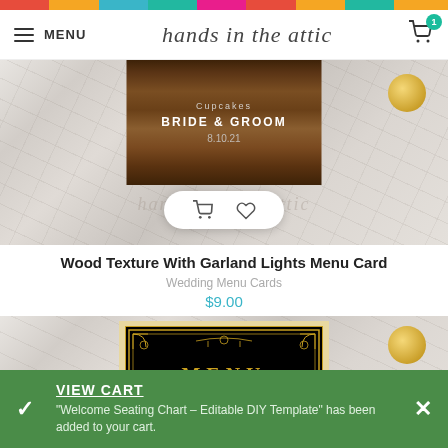MENU | hands in the attic | Cart (1)
[Figure (photo): Wood texture wedding menu card with garland lights on marble background, showing 'Cupcakes / BRIDE & GROOM / 8.10.21' with quick-add cart and heart buttons overlay and hands in the attic watermark]
Wood Texture With Garland Lights Menu Card
Wedding Menu Cards
$9.00
[Figure (photo): Art Deco style black and gold MENU card on marble background, with ornate gold border decorations and MENU text in gold]
VIEW CART
"Welcome Seating Chart – Editable DIY Template" has been added to your cart.